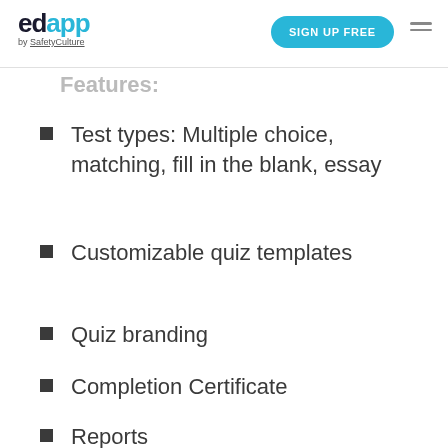edapp by SafetyCulture | SIGN UP FREE
Features:
Test types: Multiple choice, matching, fill in the blank, essay
Customizable quiz templates
Quiz branding
Completion Certificate
Reports